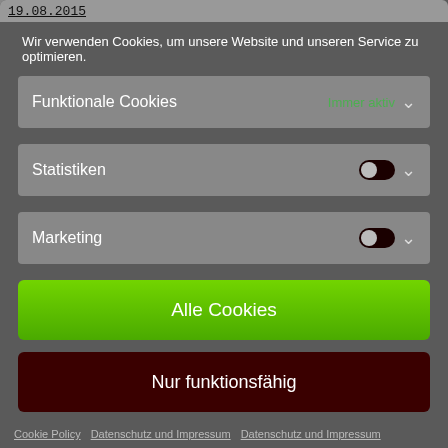19.08.2015
Wir verwenden Cookies, um unsere Website und unseren Service zu optimieren.
Funktionale Cookies   Immer aktiv ∨
Statistiken   [toggle] ∨
Marketing   [toggle] ∨
Alle Cookies
Nur funktionsfähig
Einstellungen speichern
Cookie Policy   Datenschutz und Impressum   Datenschutz und Impressum